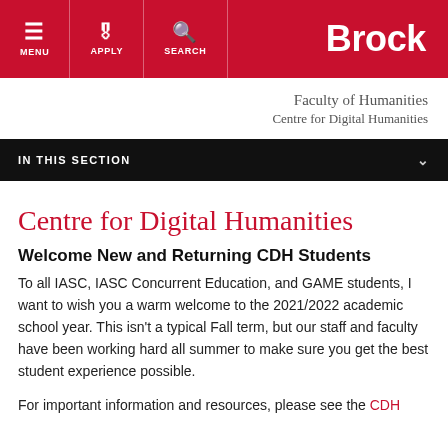MENU  APPLY  SEARCH  Brock
Faculty of Humanities
Centre for Digital Humanities
IN THIS SECTION
Centre for Digital Humanities
Welcome New and Returning CDH Students
To all IASC, IASC Concurrent Education, and GAME students, I want to wish you a warm welcome to the 2021/2022 academic school year. This isn't a typical Fall term, but our staff and faculty have been working hard all summer to make sure you get the best student experience possible.
For important information and resources, please see the CDH